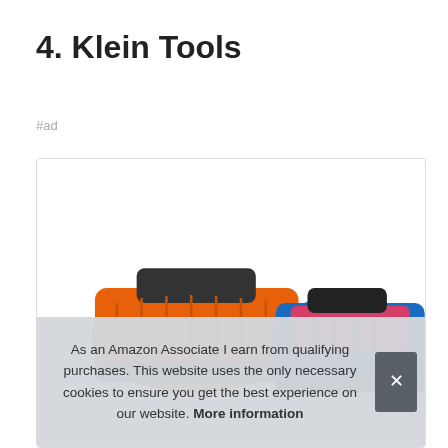4. Klein Tools
#ad
[Figure (photo): Product image of Klein Tools items (orange and blue tool bag/pouch) inside a bordered box]
As an Amazon Associate I earn from qualifying purchases. This website uses the only necessary cookies to ensure you get the best experience on our website. More information